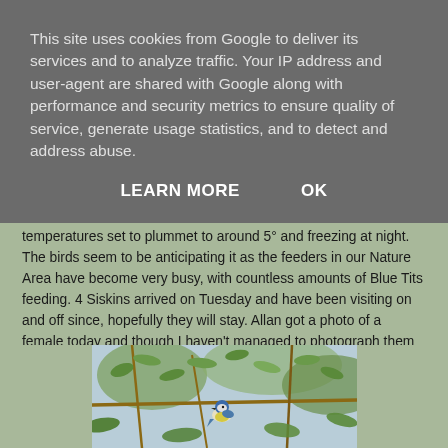This site uses cookies from Google to deliver its services and to analyze traffic. Your IP address and user-agent are shared with Google along with performance and security metrics to ensure quality of service, generate usage statistics, and to detect and address abuse.
LEARN MORE    OK
down next week as the colder weather draws in, with temperatures set to plummet to around 5° and freezing at night. The birds seem to be anticipating it as the feeders in our Nature Area have become very busy, with countless amounts of Blue Tits feeding. 4 Siskins arrived on Tuesday and have been visiting on and off since, hopefully they will stay. Allan got a photo of a female today and though I haven't managed to photograph them yet, the other birds certainly kept me busy until the male Sparrowhawk came in.
[Figure (photo): A nature photograph showing a Blue Tit bird perched among tree branches with green leaves, partially visible at the bottom of the page]